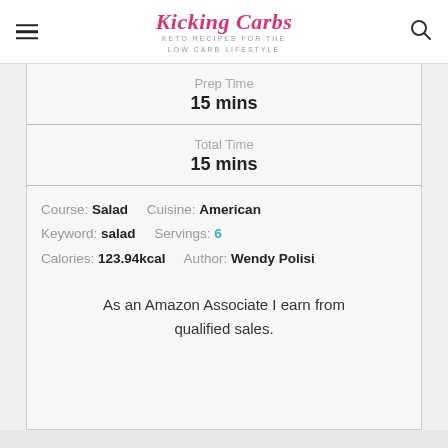Kicking Carbs — KETO RECIPES FOR THE LOW CARB LIFESTYLE
Prep Time
15 mins
Total Time
15 mins
Course: Salad    Cuisine: American
Keyword: salad    Servings: 6
Calories: 123.94kcal    Author: Wendy Polisi
As an Amazon Associate I earn from qualified sales.